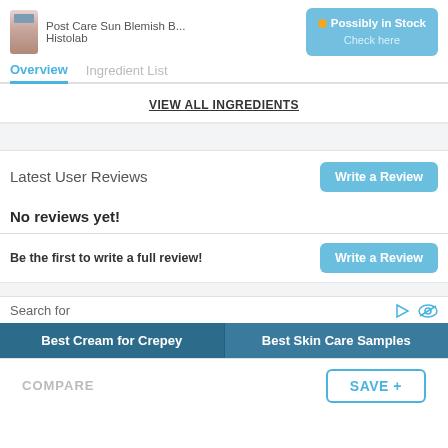Post Care Sun Blemish B... Histolab | Possibly in Stock Check here
Overview | Ingredient List
VIEW ALL INGREDIENTS
Latest User Reviews
No reviews yet!
Be the first to write a full review!
Search for
Best Cream for Crepey
Best Skin Care Samples
COMPARE
SAVE +